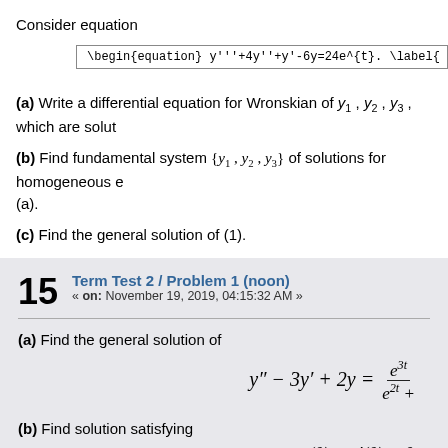Consider equation
(a) Write a differential equation for Wronskian of y1, y2, y3, which are solutions...
(b) Find fundamental system {y1, y2, y3} of solutions for homogeneous equation (a).
(c) Find the general solution of (1).
15  Term Test 2 / Problem 1 (noon)
« on: November 19, 2019, 04:15:32 AM »
(a) Find the general solution of
(b) Find solution satisfying